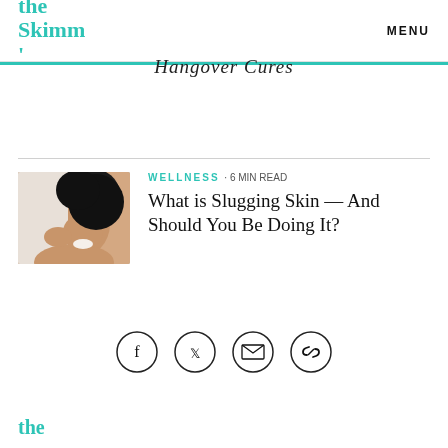the Skimm' | MENU
Hangover Cures
WELLNESS · 6 MIN READ
What is Slugging Skin — And Should You Be Doing It?
[Figure (other): Share icons: Facebook, Twitter, Email, Link]
the Skimm'